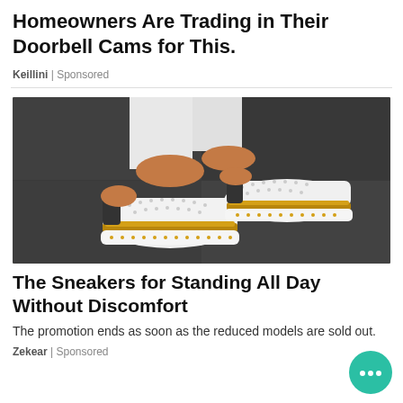Homeowners Are Trading in Their Doorbell Cams for This.
Keillini | Sponsored
[Figure (photo): Close-up photo of a person wearing white jeans and white perforated sneakers with tan/gold espadrille-style soles on a dark pavement surface.]
The Sneakers for Standing All Day Without Discomfort
The promotion ends as soon as the reduced models are sold out.
Zekear | Sponsored